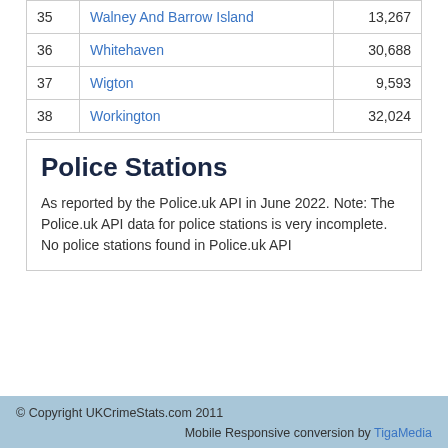|  | Name | Population |
| --- | --- | --- |
| 35 | Walney And Barrow Island | 13,267 |
| 36 | Whitehaven | 30,688 |
| 37 | Wigton | 9,593 |
| 38 | Workington | 32,024 |
Police Stations
As reported by the Police.uk API in June 2022. Note: The Police.uk API data for police stations is very incomplete.
No police stations found in Police.uk API
© Copyright UKCrimeStats.com 2011   Mobile Responsive conversion by TigaMedia